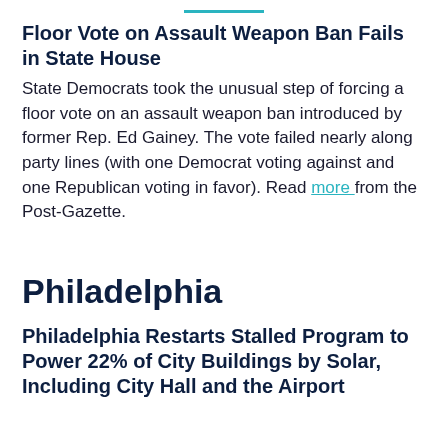Floor Vote on Assault Weapon Ban Fails in State House
State Democrats took the unusual step of forcing a floor vote on an assault weapon ban introduced by former Rep. Ed Gainey. The vote failed nearly along party lines (with one Democrat voting against and one Republican voting in favor). Read more from the Post-Gazette.
Philadelphia
Philadelphia Restarts Stalled Program to Power 22% of City Buildings by Solar, Including City Hall and the Airport